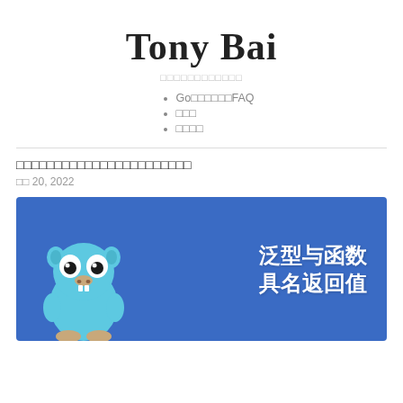Tony Bai
独立博客，关注Go语言
Go语言精进之路FAQ
关于我
赞赏支持
泛型来了！Go1.18泛型使用入门指南
四月 20, 2022
[Figure (illustration): Blue banner with Go gopher mascot on left and Chinese text '泛型与函数 具名返回值' on right]